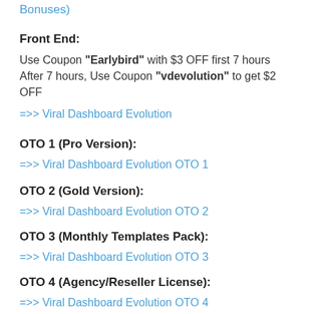Bonuses)
Front End:
Use Coupon "Earlybird" with $3 OFF first 7 hours After 7 hours, Use Coupon "vdevolution" to get $2 OFF
=>> Viral Dashboard Evolution
OTO 1 (Pro Version):
=>> Viral Dashboard Evolution OTO 1
OTO 2 (Gold Version):
=>> Viral Dashboard Evolution OTO 2
OTO 3 (Monthly Templates Pack):
=>> Viral Dashboard Evolution OTO 3
OTO 4 (Agency/Reseller License):
=>> Viral Dashboard Evolution OTO 4